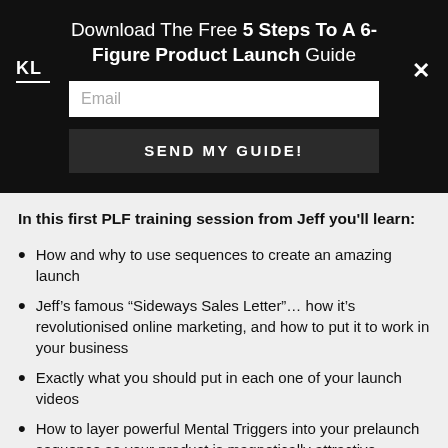Download The Free 5 Steps To A 6-Figure Product Launch Guide
Email
SEND MY GUIDE!
In this first PLF training session from Jeff you'll learn:
How and why to use sequences to create an amazing launch
Jeff's famous “Sideways Sales Letter”… how it’s revolutionised online marketing, and how to put it to work in your business
Exactly what you should put in each one of your launch videos
How to layer powerful Mental Triggers into your prelaunch sequence so your product is magnetically attractive
How to deliver just the right amount of content in your